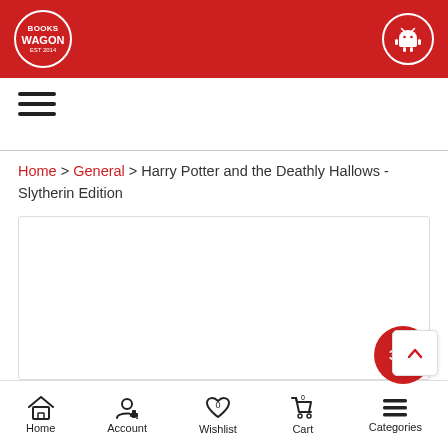Books Wagon — Android app icon
[Figure (screenshot): Hamburger menu icon (three horizontal lines)]
Home > General > Harry Potter and the Deathly Hallows - Slytherin Edition
[Figure (other): Product image area with 32% discount badge in red circle]
Home | Account | Wishlist | Cart | Categories